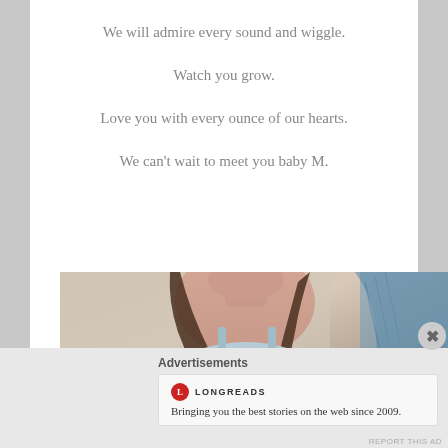We will admire every sound and wiggle.
Watch you grow.
Love you with every ounce of our hearts.
We can’t wait to meet you baby M.
[Figure (photo): A pregnant woman photographed from the neck down, wearing a light blue camisole top, with dark hair visible. Partial view of another person in blue clothing on the right side.]
Advertisements
[Figure (logo): Longreads logo - red circle with L, followed by LONGREADS text in uppercase]
Bringing you the best stories on the web since 2009.